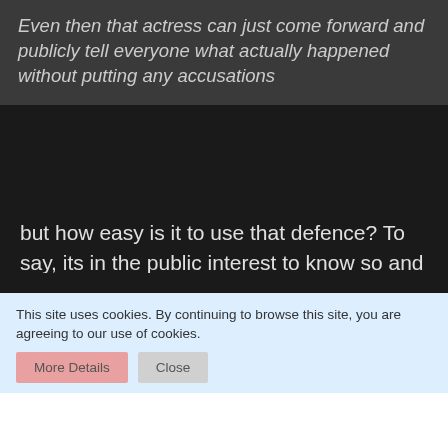Even then that actress can just come forward and publicly tell everyone what actually happened without putting any accusations
but how easy is it to use that defence? To say, its in the public interest to know so and so is a bully....well why? they are a singers, not a politicians or newscasters who's image and impartiality would be called into question. Not saying she couldn't but to do so would mean she would have to prove that she wasn't doing it for revenge of any sort and its kinda hard to believe. Theres no real reason why (if the
This site uses cookies. By continuing to browse this site, you are agreeing to our use of cookies.